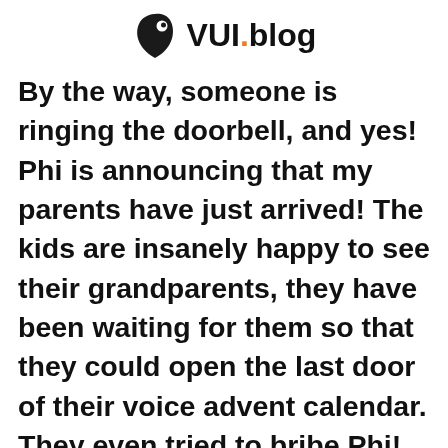[Figure (logo): VUI.blog logo with a dark teardrop/bird shape icon with a white eye dot on the left and the text VUI.blog in bold black with an orange dot]
By the way, someone is ringing the doorbell, and yes! Phi is announcing that my parents have just arrived! The kids are insanely happy to see their grandparents, they have been waiting for them so that they could open the last door of their voice advent calendar. They even tried to bribe Phi!
They're real rascals! It fills my heart with joy to see everyone I love sitting around the table, listening attentively to the thrilling Christmas story that